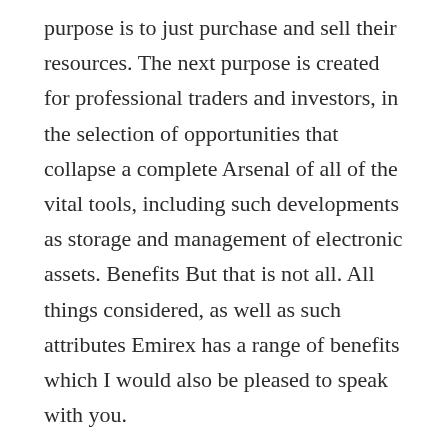purpose is to just purchase and sell their resources. The next purpose is created for professional traders and investors, in the selection of opportunities that collapse a complete Arsenal of all of the vital tools, including such developments as storage and management of electronic assets. Benefits But that is not all. All things considered, as well as such attributes Emirex has a range of benefits which I would also be pleased to speak with you.